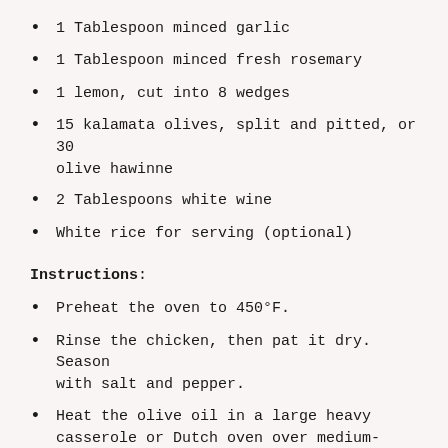1 Tablespoon minced garlic
1 Tablespoon minced fresh rosemary
1 lemon, cut into 8 wedges
15 kalamata olives, split and pitted, or 30 olive hawinne
2 Tablespoons white wine
White rice for serving (optional)
Instructions:
Preheat the oven to 450°F.
Rinse the chicken, then pat it dry. Season with salt and pepper.
Heat the olive oil in a large heavy casserole or Dutch oven over medium-high heat until the oil is starting to